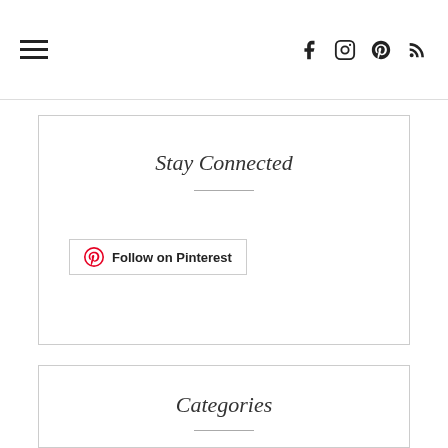≡  f  Instagram  Pinterest  RSS
Stay Connected
Follow on Pinterest
Categories
Adoption
Articles